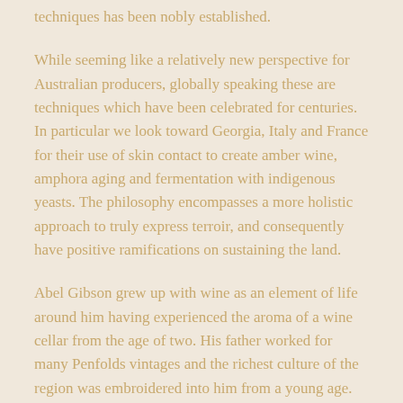techniques has been nobly established.
While seeming like a relatively new perspective for Australian producers, globally speaking these are techniques which have been celebrated for centuries. In particular we look toward Georgia, Italy and France for their use of skin contact to create amber wine, amphora aging and fermentation with indigenous yeasts. The philosophy encompasses a more holistic approach to truly express terroir, and consequently have positive ramifications on sustaining the land.
Abel Gibson grew up with wine as an element of life around him having experienced the aroma of a wine cellar from the age of two. His father worked for many Penfolds vintages and the richest culture of the region was embroidered into him from a young age. He was privileged to have observed diverse skills from some of Australia's greatest winemakers. It helped him to develop a deep understanding of the region which is expressed though his unique style. A homage to his home.
Their first vintage was created in 2009 from small parcels of